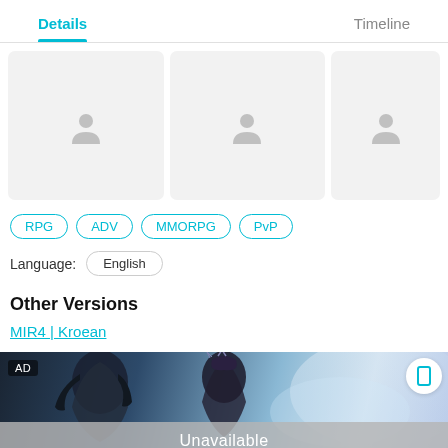Details	Timeline
[Figure (screenshot): Three placeholder screenshot thumbnails with grey background and image placeholder icons]
RPG
ADV
MMORPG
PvP
Language: English
Other Versions
MIR4 | Kroean
[Figure (photo): AD banner showing a fantasy game character with dark hair against a blue-white background, with an Unavailable overlay bar and a close button]